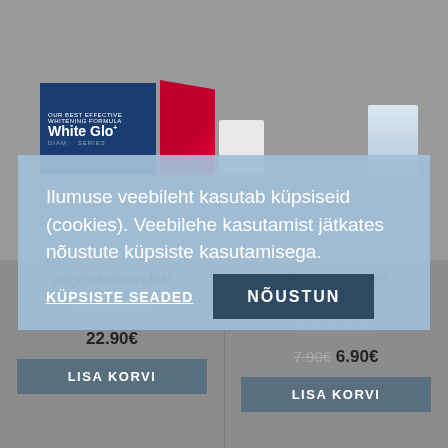[Figure (screenshot): E-commerce website screenshot with blurred product images at top, showing White Glo product packaging and another product on the right. Below are two product listings with names, star ratings, prices, and add-to-cart buttons. A cookie consent banner overlays the middle of the page.]
Ilumuse veebileht kasutab küpsiseid (cookies). Veebilehe kasutamist jätkates nõustute küpsiste kasutamisega.
KÜPSISTE SEADED
NÕUSTUN
valgenduskomplekt
22.90€
LISA KORVI
efektiga koheselt valgendav
7.90€ 6.90€
LISA KORVI